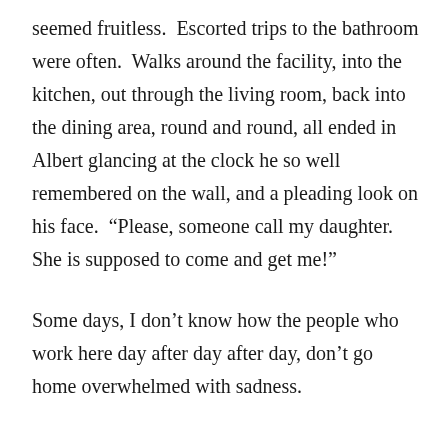seemed fruitless.  Escorted trips to the bathroom were often.  Walks around the facility, into the kitchen, out through the living room, back into the dining area, round and round, all ended in Albert glancing at the clock he so well remembered on the wall, and a pleading look on his face.  “Please, someone call my daughter.  She is supposed to come and get me!”
Some days, I don’t know how the people who work here day after day after day, don’t go home overwhelmed with sadness.